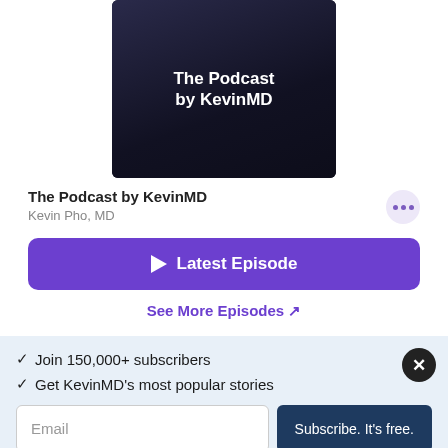[Figure (photo): Podcast cover art showing a person in a suit with text 'The Podcast by KevinMD' on dark background]
The Podcast by KevinMD
Kevin Pho, MD
▶ Latest Episode
See More Episodes ↗
✓ Join 150,000+ subscribers
✓ Get KevinMD's most popular stories
Email | Subscribe. It's free.